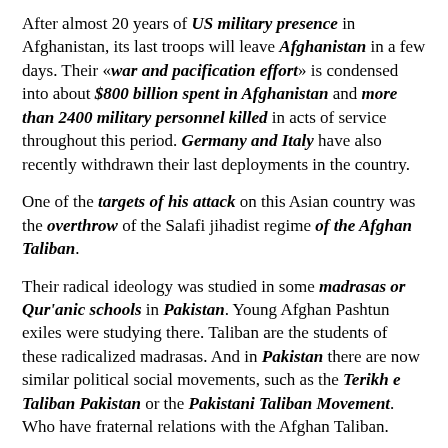After almost 20 years of US military presence in Afghanistan, its last troops will leave Afghanistan in a few days. Their «war and pacification effort» is condensed into about $800 billion spent in Afghanistan and more than 2400 military personnel killed in acts of service throughout this period. Germany and Italy have also recently withdrawn their last deployments in the country.
One of the targets of his attack on this Asian country was the overthrow of the Salafi jihadist regime of the Afghan Taliban.
Their radical ideology was studied in some madrasas or Qur'anic schools in Pakistan. Young Afghan Pashtun exiles were studying there. Taliban are the students of these radicalized madrasas. And in Pakistan there are now similar political social movements, such as the Terikh e Taliban Pakistan or the Pakistani Taliban Movement. Who have fraternal relations with the Afghan Taliban.
These, in turn, would have given shelter to al-Qaeda headquarters, in the form of a «safe guerrilla base«, with various locations in Afghanistan. And, with an extensive last «position